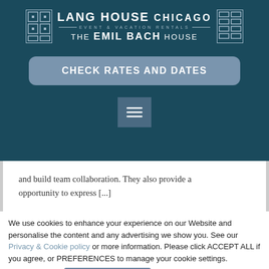[Figure (logo): Lang House Chicago Event & Vacation Rentals — The Emil Bach House logo with decorative tile/window icons on both sides]
CHECK RATES AND DATES
[Figure (other): Hamburger menu button (three horizontal lines icon)]
and build team collaboration. They also provide a opportunity to express [...]
We use cookies to enhance your experience on our Website and personalise the content and any advertising we show you. See our Privacy & Cookie policy or more information. Please click ACCEPT ALL if you agree, or PREFERENCES to manage your cookie settings.
ACCEPT ALL
Preferences